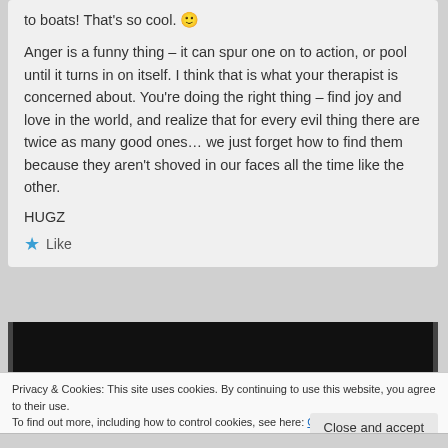to boats! That's so cool. 🙂
Anger is a funny thing – it can spur one on to action, or pool until it turns in on itself. I think that is what your therapist is concerned about. You're doing the right thing – find joy and love in the world, and realize that for every evil thing there are twice as many good ones… we just forget how to find them because they aren't shoved in our faces all the time like the other.
HUGZ
★ Like
[Figure (screenshot): Black redacted bar with dark side accents]
Privacy & Cookies: This site uses cookies. By continuing to use this website, you agree to their use.
To find out more, including how to control cookies, see here: Cookie Policy
Close and accept